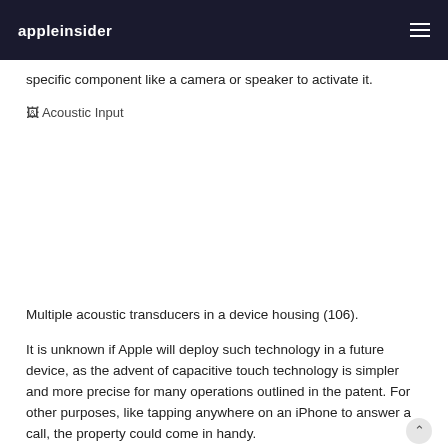appleinsider
specific component like a camera or speaker to activate it.
[Figure (photo): Acoustic Input — broken image placeholder showing alt text 'Acoustic Input']
Multiple acoustic transducers in a device housing (106).
It is unknown if Apple will deploy such technology in a future device, as the advent of capacitive touch technology is simpler and more precise for many operations outlined in the patent. For other purposes, like tapping anywhere on an iPhone to answer a call, the property could come in handy.